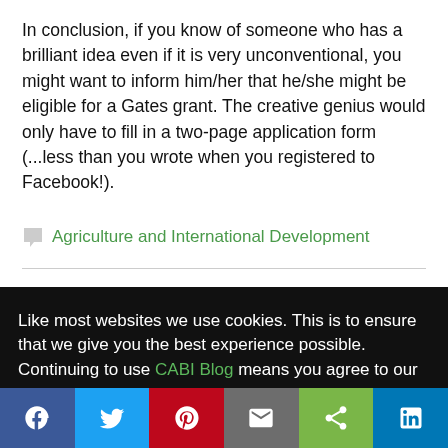In conclusion, if you know of someone who has a brilliant idea even if it is very unconventional, you might want to inform him/her that he/she might be eligible for a Gates grant. The creative genius would only have to fill in a two-page application form (...less than you wrote when you registered to Facebook!).
Agriculture and International Development
Like most websites we use cookies. This is to ensure that we give you the best experience possible. Continuing to use CABI Blog means you agree to our use of cookies. If you would like to, you can learn more about the cookies we use here.